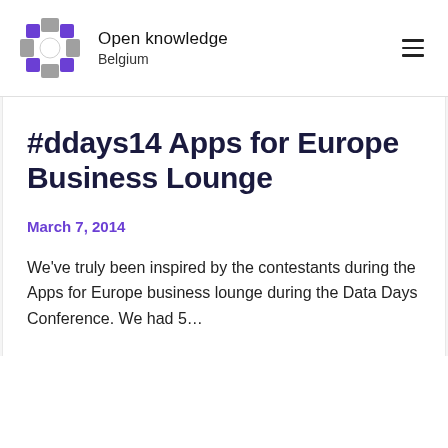Open knowledge Belgium
#ddays14 Apps for Europe Business Lounge
March 7, 2014
We've truly been inspired by the contestants during the Apps for Europe business lounge during the Data Days Conference. We had 5…